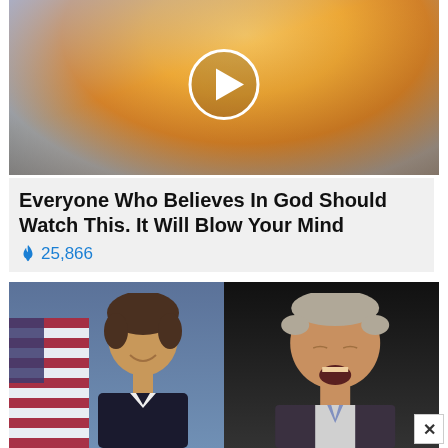[Figure (photo): Video thumbnail showing dramatic sky with sunlight rays breaking through golden clouds, with a circular white play button icon in the center]
Everyone Who Believes In God Should Watch This. It Will Blow Your Mind
🔥 25,866
[Figure (photo): Side-by-side photos: left shows a smiling man in a dark suit with an American flag in the background; right shows an older man with an open mouth against a dark background]